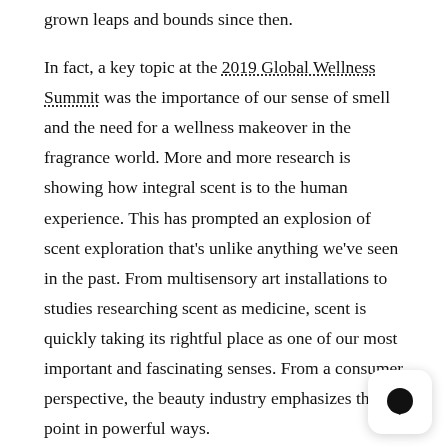grown leaps and bounds since then.
In fact, a key topic at the 2019 Global Wellness Summit was the importance of our sense of smell and the need for a wellness makeover in the fragrance world. More and more research is showing how integral scent is to the human experience. This has prompted an explosion of scent exploration that's unlike anything we've seen in the past. From multisensory art installations to studies researching scent as medicine, scent is quickly taking its rightful place as one of our most important and fascinating senses. From a consumer perspective, the beauty industry emphasizes this point in powerful ways.
Personal care products are often some of the